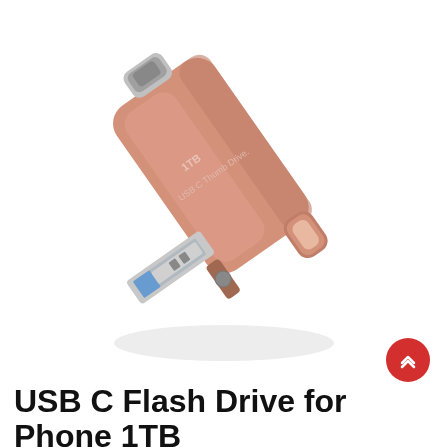[Figure (photo): A rose gold / pink USB C dual-connector thumb drive (flash drive) with USB-A plug extended on one side and USB-C connector on top, rotated at an angle. The body reads '1TB' and 'USB C Thumb Drive.' on it. The drive has a metallic silver USB-A connector and a keychain loop at the bottom right.]
USB C Flash Drive for Phone 1TB